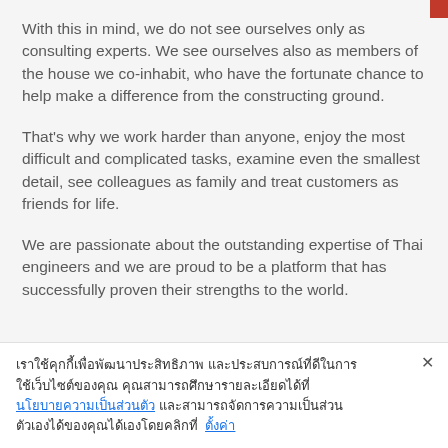With this in mind, we do not see ourselves only as consulting experts. We see ourselves also as members of the house we co-inhabit, who have the fortunate chance to help make a difference from the constructing ground.
That's why we work harder than anyone, enjoy the most difficult and complicated tasks, examine even the smallest detail, see colleagues as family and treat customers as friends for life.
We are passionate about the outstanding expertise of Thai engineers and we are proud to be a platform that has successfully proven their strengths to the world.
เราใช้คุกกี้เพื่อพัฒนาประสิทธิภาพ และประสบการณ์ที่ดีในการใช้เว็บไซต์ของคุณ คุณสามารถศึกษารายละเอียดได้ที่ นโยบายความเป็นส่วนตัว และสามารถจัดการความเป็นส่วนตัวเองได้ของคุณได้เองโดยคลิกที่ ตั้งค่า